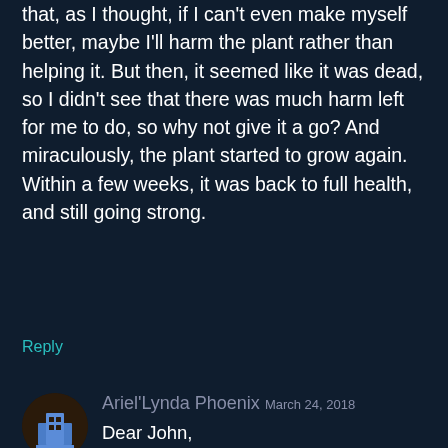that, as I thought, if I can't even make myself better, maybe I'll harm the plant rather than helping it. But then, it seemed like it was dead, so I didn't see that there was much harm left for me to do, so why not give it a go? And miraculously, the plant started to grow again. Within a few weeks, it was back to full health, and still going strong.
Reply
Ariel'Lynda Phoenix  March 24, 2018
Dear John,
I am deeply grateful to have recently found all your books. They will be read & re-read until they are fire-branded into my cells.